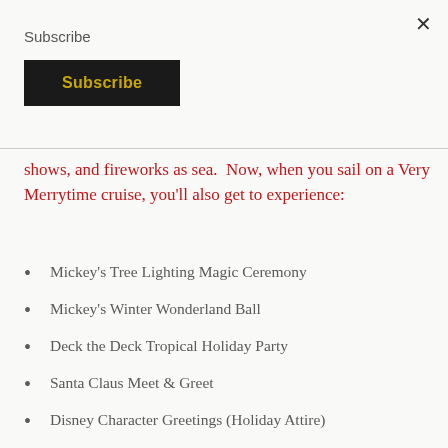×
Subscribe
Subscribe
shows, and fireworks as sea.  Now, when you sail on a Very Merrytime cruise, you'll also get to experience:
Mickey's Tree Lighting Magic Ceremony
Mickey's Winter Wonderland Ball
Deck the Deck Tropical Holiday Party
Santa Claus Meet & Greet
Disney Character Greetings (Holiday Attire)
Storytime with Mrs. Claus
Themed Activities & Crafts